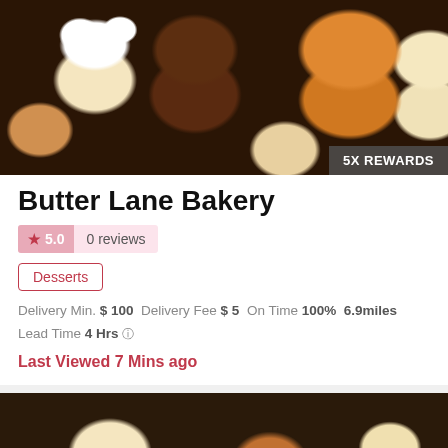[Figure (photo): Overhead photo of assorted cupcakes and muffins with colorful frosting and sprinkles on a dark background. A gray badge in the bottom-right reads '5X REWARDS'.]
Butter Lane Bakery
★ 5.0   0 reviews
Desserts
Delivery Min. $100  Delivery Fee $5  On Time 100%  6.9miles
Lead Time 4 Hrs ℹ
Last Viewed 7 Mins ago
[Figure (photo): Overhead photo of assorted pastries, cookies, green candies/edamame in a bowl, and orange slices on a wooden board.]